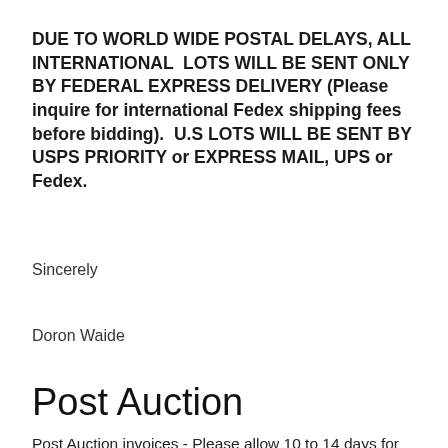DUE TO WORLD WIDE POSTAL DELAYS, ALL INTERNATIONAL LOTS WILL BE SENT ONLY BY FEDERAL EXPRESS DELIVERY (Please inquire for international Fedex shipping fees before bidding). U.S LOTS WILL BE SENT BY USPS PRIORITY or EXPRESS MAIL, UPS or Fedex.
Sincerely
Doron Waide
Post Auction
Post Auction invoices - Please allow 10 to 14 days for